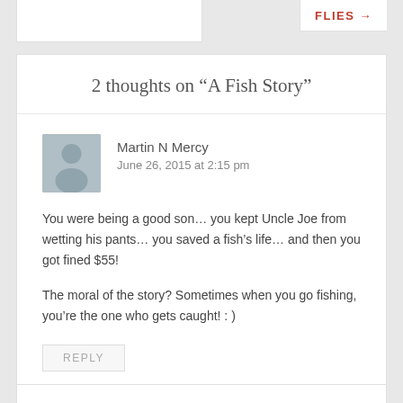FLIES →
2 thoughts on “A Fish Story”
Martin N Mercy
June 26, 2015 at 2:15 pm
You were being a good son… you kept Uncle Joe from wetting his pants… you saved a fish’s life… and then you got fined $55!
The moral of the story? Sometimes when you go fishing, you’re the one who gets caught! : )
REPLY